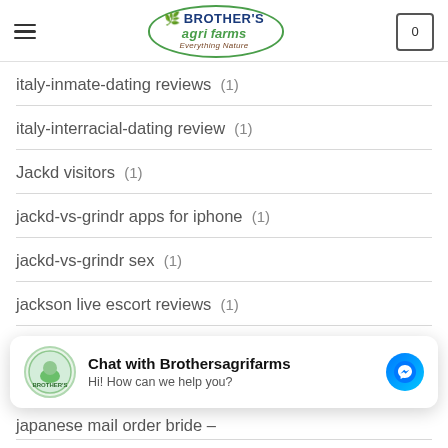Brother's Agri Farms — Everything Nature
italy-inmate-dating reviews (1)
italy-interracial-dating review (1)
Jackd visitors (1)
jackd-vs-grindr apps for iphone (1)
jackd-vs-grindr sex (1)
jackson live escort reviews (1)
japan cupid login (1)
japanese brides (1)
Chat with Brothersagrifarms — Hi! How can we help you?
japanese mail order bride –